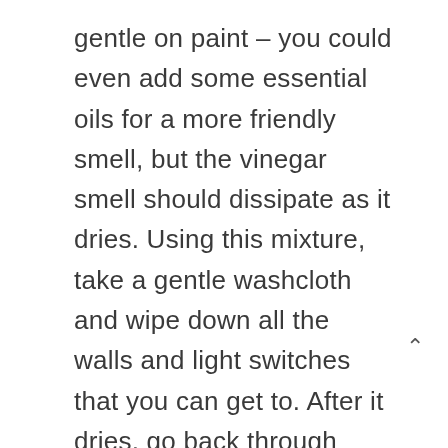gentle on paint – you could even add some essential oils for a more friendly smell, but the vinegar smell should dissipate as it dries. Using this mixture, take a gentle washcloth and wipe down all the walls and light switches that you can get to. After it dries, go back through once more with a fresh washcloth, skipping the vinegar and just using some warm water to wipe up any dirt left behind in the initial wash. Note: it's important to be sure your washcloth is damp and not soaking wet. Ring it out well so as to not leave any drips behind!
This same mixture will work great for baseboards, too! However, I recommend